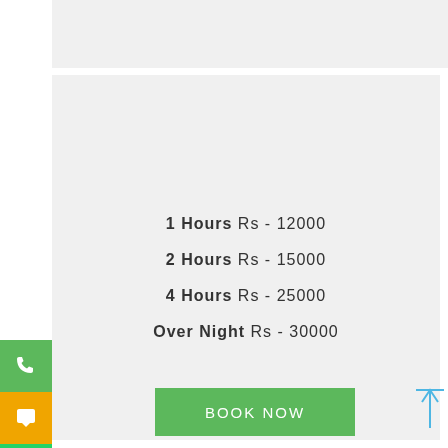Housewife Escorts
1 Hours Rs - 12000
2 Hours Rs - 15000
4 Hours Rs - 25000
Over Night Rs - 30000
BOOK NOW